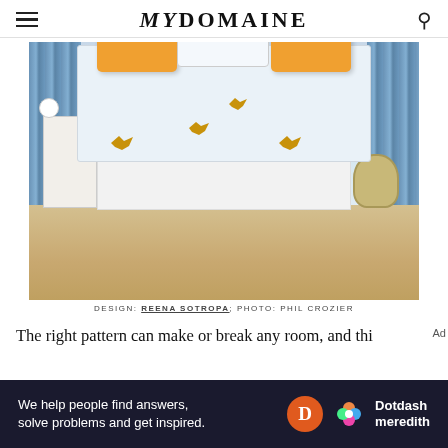MYDOMAINE
[Figure (photo): Bedroom with white platform bed, light blue bird-patterned duvet, orange accent pillows, blue curtains, wood floor, white nightstand and wicker basket]
DESIGN: REENA SOTROPA; PHOTO: PHIL CROZIER
The right pattern can make or break any room, and thi
[Figure (infographic): Dotdash Meredith advertisement banner: We help people find answers, solve problems and get inspired.]